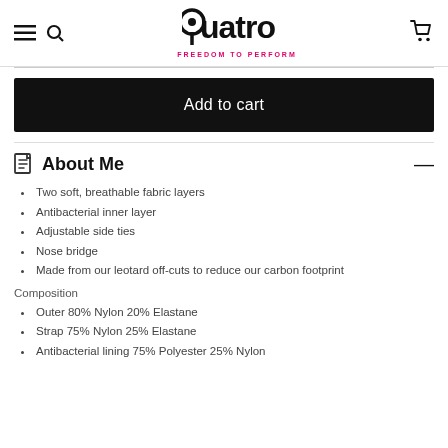Quatro — FREEDOM TO PERFORM
Add to cart
About Me
Two soft, breathable fabric layers
Antibacterial inner layer
Adjustable side ties
Nose bridge
Made from our leotard off-cuts to reduce our carbon footprint
Composition
Outer 80% Nylon 20% Elastane
Strap 75% Nylon 25% Elastane
Antibacterial lining 75% Polyester 25% Nylon